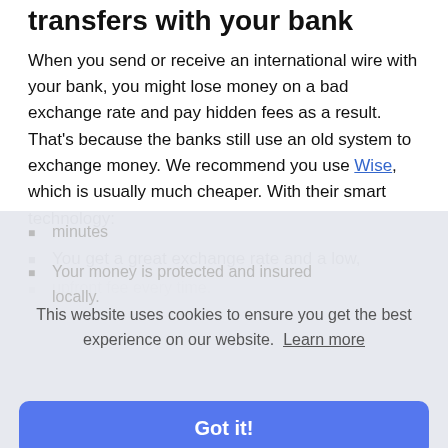transfers with your bank
When you send or receive an international wire with your bank, you might lose money on a bad exchange rate and pay hidden fees as a result. That's because the banks still use an old system to exchange money. We recommend you use Wise, which is usually much cheaper. With their smart technology:
You get a great exchange rate and a low, upfront fee every time.
Transfers are completed in minutes
Your money is protected and insured locally.
This website uses cookies to ensure you get the best experience on our website. Learn more
Got it!